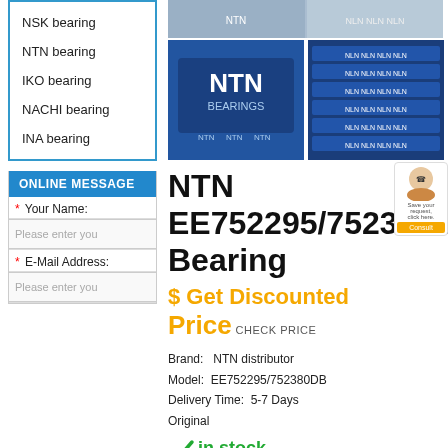NSK bearing
NTN bearing
IKO bearing
NACHI bearing
INA bearing
ONLINE MESSAGE
* Your Name:
Please enter you
* E-Mail Address:
Please enter you
[Figure (photo): NTN bearing product photos - box and stacked packages]
NTN EE752295/752380DB Bearing
$ Get Discounted Price  CHECK PRICE
Brand:    NTN distributor
Model:   EE752295/752380DB
Delivery Time:   5-7 Days
Original
✓in stock